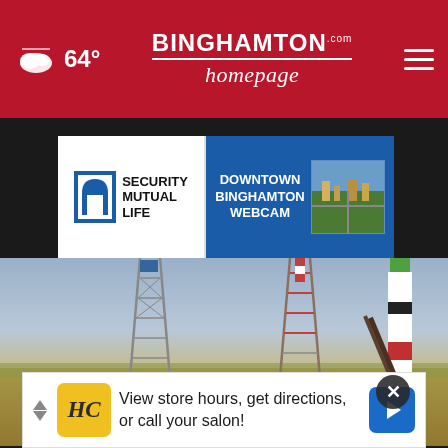64° — Binghamton Homepage — Navigation menu
[Figure (screenshot): Security Mutual Life advertisement banner with Downtown Binghamton Webcam]
[Figure (photo): Rocket on launch pad at a flat steppe launch site, with lattice towers, desert landscape and blue sky]
[Figure (infographic): Bottom advertisement: HC logo (yellow), 'View store hours, get directions, or call your salon!' with blue navigation arrow icon]